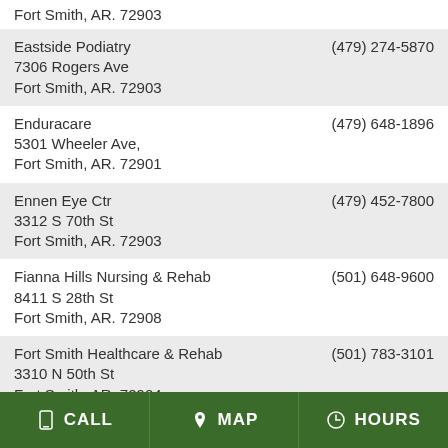Fort Smith, AR. 72903
| Name/Address | Phone |
| --- | --- |
| Eastside Podiatry
7306 Rogers Ave
Fort Smith, AR. 72903 | (479) 274-5870 |
| Enduracare
5301 Wheeler Ave,
Fort Smith, AR. 72901 | (479) 648-1896 |
| Ennen Eye Ctr
3312 S 70th St
Fort Smith, AR. 72903 | (479) 452-7800 |
| Fianna Hills Nursing & Rehab
8411 S 28th St
Fort Smith, AR. 72908 | (501) 648-9600 |
| Fort Smith Healthcare & Rehab
3310 N 50th St
Fort Smith, AR. 72904 | (501) 783-3101 |
| Fort Smith Nursing Ctr
425 N 51st St
Fort Smith, AR. 72903 | (501) 452-0530 |
| Fort Smith Wic Clinic | (479) 478-3062 |
CALL  MAP  HOURS